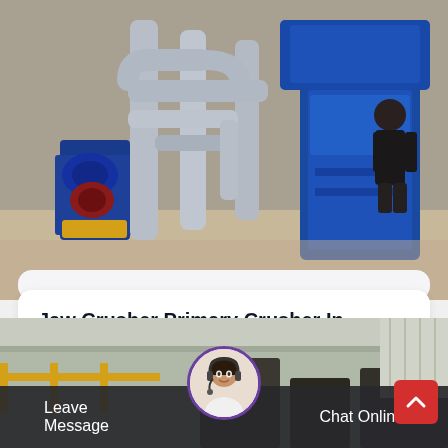[Figure (photo): Industrial mining/processing equipment with blue machinery, silver pipes and ductwork in a warehouse/factory setting with a person visible in the background]
Jaw Crusher Primary Crusher In Mining Amp
Jxsc jaw type rock crusher is usually used as a primary crusher and secondary crusher to reduce the size of mediumhard materials to…
[Figure (photo): Industrial factory/warehouse interior with yellow railing visible, partially obscured by the chat bar overlay]
Leave Message
Chat Online